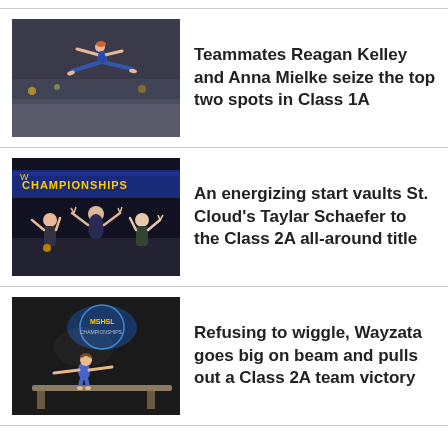[Figure (photo): Gymnast leaping in the air at a gymnastics competition, crowd in background]
Teammates Reagan Kelley and Anna Mielke seize the top two spots in Class 1A
[Figure (photo): Three gymnasts on podium celebrating with arms raised at Championships event with banner in background]
An energizing start vaults St. Cloud's Taylar Schaefer to the Class 2A all-around title
[Figure (photo): Gymnast performing on beam at MSHSL Championships event with banner in background]
Refusing to wiggle, Wayzata goes big on beam and pulls out a Class 2A team victory